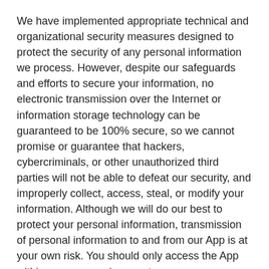We have implemented appropriate technical and organizational security measures designed to protect the security of any personal information we process. However, despite our safeguards and efforts to secure your information, no electronic transmission over the Internet or information storage technology can be guaranteed to be 100% secure, so we cannot promise or guarantee that hackers, cybercriminals, or other unauthorized third parties will not be able to defeat our security, and improperly collect, access, steal, or modify your information. Although we will do our best to protect your personal information, transmission of personal information to and from our App is at your own risk. You should only access the App within a secure environment.
8. DO WE COLLECT INFORMATION FROM MINORS?